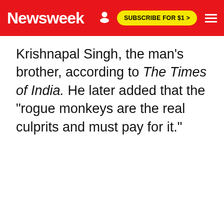Newsweek | SUBSCRIBE FOR $1 >
Krishnapal Singh, the man's brother, according to The Times of India. He later added that the "rogue monkeys are the real culprits and must pay for it."